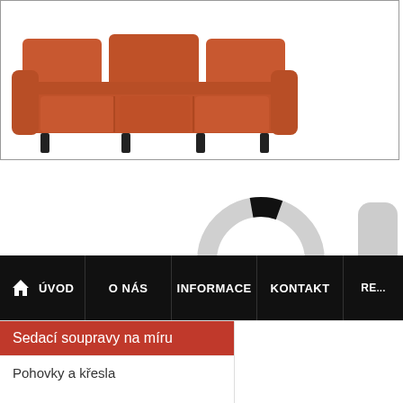[Figure (photo): Orange/rust colored three-seat sofa with cushions on white background inside a bordered banner area]
[Figure (other): Navigation UI elements: a gray rounded square back arrow button on the left, a circular loading spinner (donut shape, mostly light gray with small black arc at top) in the center, and a partially visible gray rounded element on the right edge]
🏠 ÚVOD | O NÁS | INFORMACE | KONTAKT | RE...
Sedací soupravy na míru
Pohovky a křesla